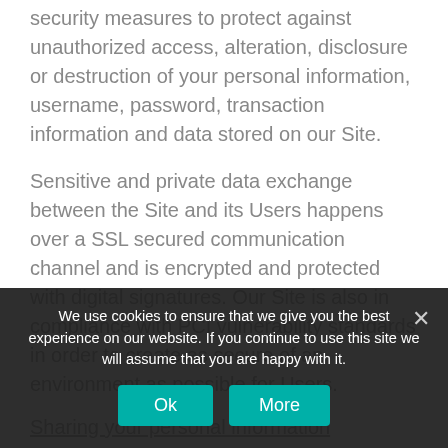security measures to protect against unauthorized access, alteration, disclosure or destruction of your personal information, username, password, transaction information and data stored on our Site.
Sensitive and private data exchange between the Site and its Users happens over a SSL secured communication channel and is encrypted and protected with digital signatures. Our Site is also in compliance with PCI vulnerability standards in order to create as secure of an environment as possible for Users.
Sharing your personal information
information to others. We may share generic aggregated demographic information not linked to any personal identification information regarding visitors and users with
We use cookies to ensure that we give you the best experience on our website. If you continue to use this site we will assume that you are happy with it.